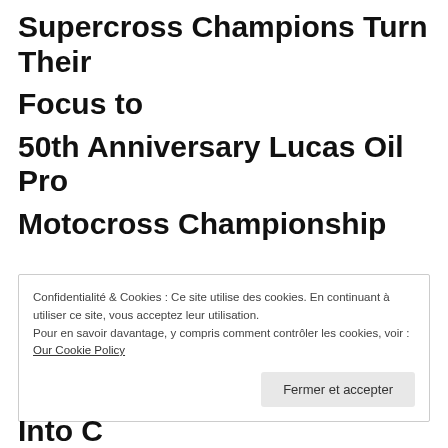Supercross Champions Turn Their Focus to 50th Anniversary Lucas Oil Pro Motocross Championship
Confidentialité & Cookies : Ce site utilise des cookies. En continuant à utiliser ce site, vous acceptez leur utilisation.
Pour en savoir davantage, y compris comment contrôler les cookies, voir :
Our Cookie Policy
Fermer et accepter